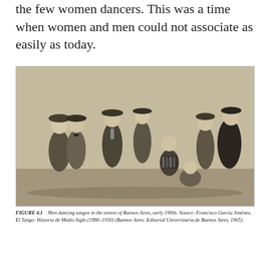the few women dancers. This was a time when women and men could not associate as easily as today.
[Figure (photo): Black and white historical photograph of men dancing tangos in the streets of Buenos Aires, early 1900s. Several men in hats and suits are dancing together, with a musician playing an accordion seated in the center.]
FIGURE 4.1    Men dancing tangos in the streets of Buenos Aires, early 1900s. Source: Francisco García Jiménez, El Tango: Historia de Medio Siglo (1880–1930) (Buenos Aires: Editorial Universitaria de Buenos Aires, 1965).